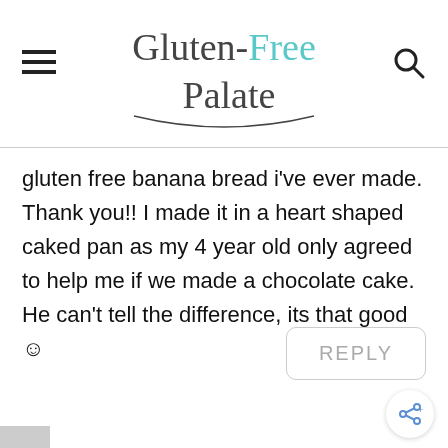Gluten-Free Palate
gluten free banana bread i've ever made. Thank you!! I made it in a heart shaped caked pan as my 4 year old only agreed to help me if we made a chocolate cake. He can't tell the difference, its that good ☺